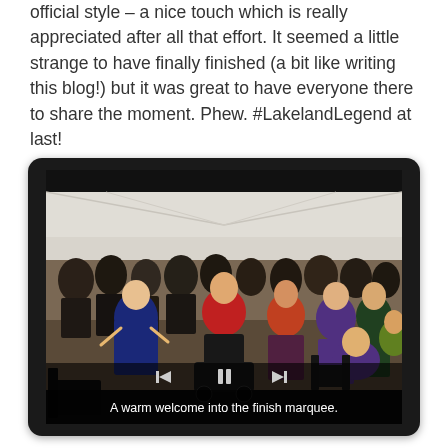official style – a nice touch which is really appreciated after all that effort. It seemed a little strange to have finally finished (a bit like writing this blog!) but it was great to have everyone there to share the moment. Phew. #LakelandLegend at last!
[Figure (photo): A tablet device displaying a video of a celebratory gathering inside a large marquee/tent. Many people are standing and clapping. A woman in a red jacket is prominent in the center. There is a baby pram visible. The video has a subtitle bar at the bottom reading 'A warm welcome into the finish marquee.' and video playback controls (rewind, pause, forward) are visible.]